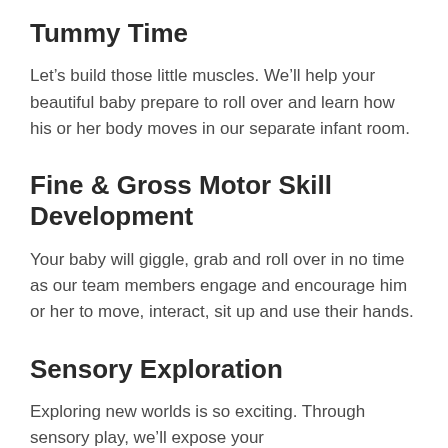Tummy Time
Let’s build those little muscles. We’ll help your beautiful baby prepare to roll over and learn how his or her body moves in our separate infant room.
Fine & Gross Motor Skill Development
Your baby will giggle, grab and roll over in no time as our team members engage and encourage him or her to move, interact, sit up and use their hands.
Sensory Exploration
Exploring new worlds is so exciting. Through sensory play, we’ll expose your